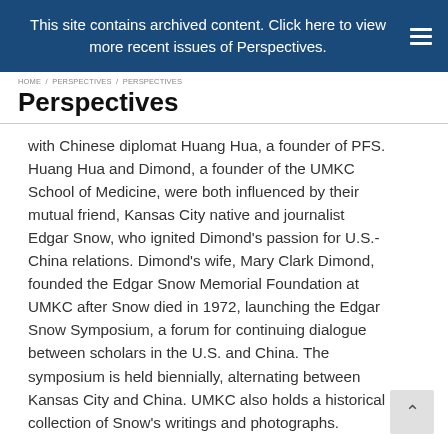This site contains archived content. Click here to view more recent issues of Perspectives.
Perspectives
with Chinese diplomat Huang Hua, a founder of PFS. Huang Hua and Dimond, a founder of the UMKC School of Medicine, were both influenced by their mutual friend, Kansas City native and journalist Edgar Snow, who ignited Dimond's passion for U.S.-China relations. Dimond's wife, Mary Clark Dimond, founded the Edgar Snow Memorial Foundation at UMKC after Snow died in 1972, launching the Edgar Snow Symposium, a forum for continuing dialogue between scholars in the U.S. and China. The symposium is held biennially, alternating between Kansas City and China. UMKC also holds a historical collection of Snow's writings and photographs.